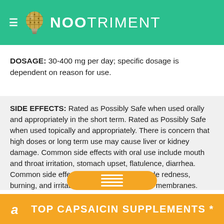NOOTRIMENT
DOSAGE: 30-400 mg per day; specific dosage is dependent on reason for use.
SIDE EFFECTS: Rated as Possibly Safe when used orally and appropriately in the short term. Rated as Possibly Safe when used topically and appropriately. There is concern that high doses or long term use may cause liver or kidney damage. Common side effects with oral use include mouth and throat irritation, stomach upset, flatulence, diarrhea. Common side effects with topical use include redness, burning, and irritation of the skin or mucous membranes.
INTERACTIONS: ACE inhibitors, Anti blood clotting drugs,
TOP CAPSAICIN SUPPLEMENTS *